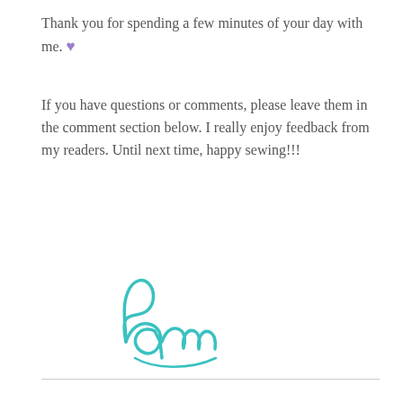Thank you for spending a few minutes of your day with me. 💜
If you have questions or comments, please leave them in the comment section below. I really enjoy feedback from my readers. Until next time, happy sewing!!!
[Figure (illustration): Handwritten cursive signature reading 'Pam' in teal/turquoise ink]